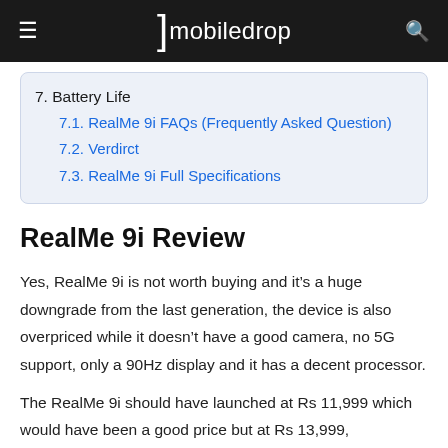mobiledrop
7. Battery Life
7.1. RealMe 9i FAQs (Frequently Asked Question)
7.2. Verdirct
7.3. RealMe 9i Full Specifications
RealMe 9i Review
Yes, RealMe 9i is not worth buying and it’s a huge downgrade from the last generation, the device is also overpriced while it doesn’t have a good camera, no 5G support, only a 90Hz display and it has a decent processor.
The RealMe 9i should have launched at Rs 11,999 which would have been a good price but at Rs 13,999,